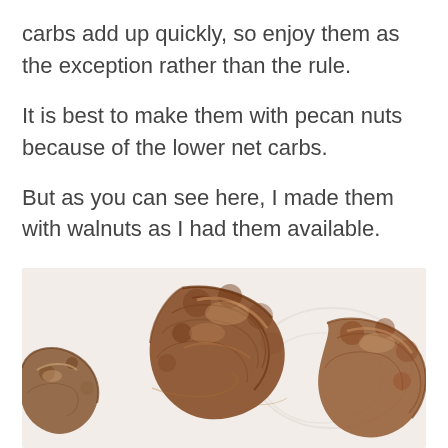carbs add up quickly, so enjoy them as the exception rather than the rule.
It is best to make them with pecan nuts because of the lower net carbs.
But as you can see here, I made them with walnuts as I had them available.
[Figure (photo): Close-up photo of glazed/candied walnuts arranged on a light surface, showing their craggy brown caramelized texture.]